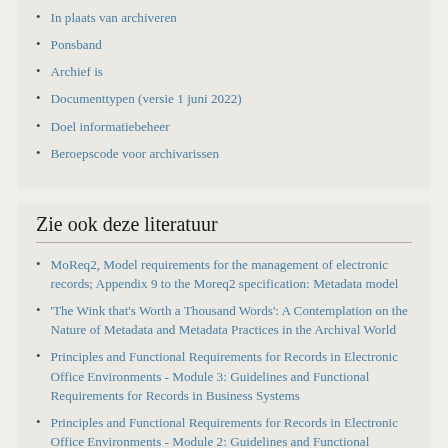In plaats van archiveren
Ponsband
Archief is
Documenttypen (versie 1 juni 2022)
Doel informatiebeheer
Beroepscode voor archivarissen
Zie ook deze literatuur
MoReq2, Model requirements for the management of electronic records; Appendix 9 to the Moreq2 specification: Metadata model
'The Wink that's Worth a Thousand Words': A Contemplation on the Nature of Metadata and Metadata Practices in the Archival World
Principles and Functional Requirements for Records in Electronic Office Environments - Module 3: Guidelines and Functional Requirements for Records in Business Systems
Principles and Functional Requirements for Records in Electronic Office Environments - Module 2: Guidelines and Functional Requirements for Electronic Records Management Systems
Towards a Framework for Standardising Recordkeeping Metadata: The Australian Recordkeeping Metadata Schema